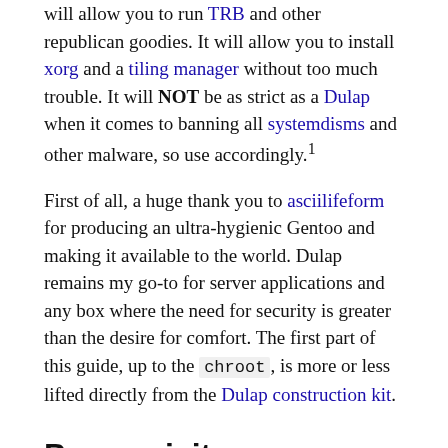will allow you to run TRB and other republican goodies. It will allow you to install xorg and a tiling manager without too much trouble. It will NOT be as strict as a Dulap when it comes to banning all systemdisms and other malware, so use accordingly.¹
First of all, a huge thank you to asciilifeform for producing an ultra-hygienic Gentoo and making it available to the world. Dulap remains my go-to for server applications and any box where the need for security is greater than the desire for comfort. The first part of this guide, up to the chroot, is more or less lifted directly from the Dulap construction kit.
Prerequisites
Gather these items before beginning with the guide.
Any random laptop or assembled assortment